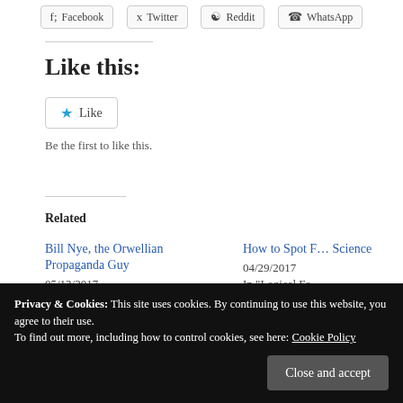[Figure (infographic): Social share buttons: Facebook, Twitter, Reddit, WhatsApp]
Like this:
Like
Be the first to like this.
Related
Bill Nye, the Orwellian Propaganda Guy
05/12/2017
In "Hypnosis"
How to Spot F… Science
04/29/2017
In "Logical Fa…"
Privacy & Cookies: This site uses cookies. By continuing to use this website, you agree to their use.
To find out more, including how to control cookies, see here: Cookie Policy
Close and accept